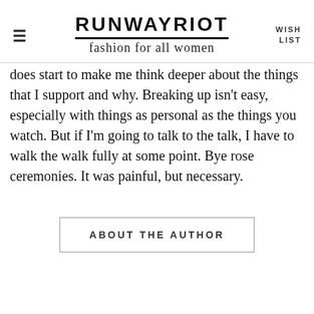RUNWAY RIOT — fashion for all women — WISH LIST
does start to make me think deeper about the things that I support and why. Breaking up isn't easy, especially with things as personal as the things you watch. But if I'm going to talk to the talk, I have to walk the walk fully at some point. Bye rose ceremonies. It was painful, but necessary.
ABOUT THE AUTHOR